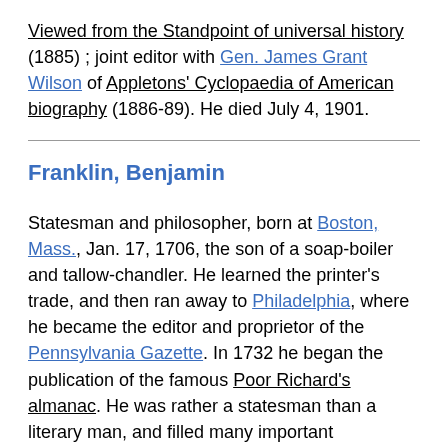Viewed from the Standpoint of universal history (1885) ; joint editor with Gen. James Grant Wilson of Appletons' Cyclopaedia of American biography (1886-89). He died July 4, 1901.
Franklin, Benjamin
Statesman and philosopher, born at Boston, Mass., Jan. 17, 1706, the son of a soap-boiler and tallow-chandler. He learned the printer's trade, and then ran away to Philadelphia, where he became the editor and proprietor of the Pennsylvania Gazette. In 1732 he began the publication of the famous Poor Richard's almanac. He was rather a statesman than a literary man, and filled many important